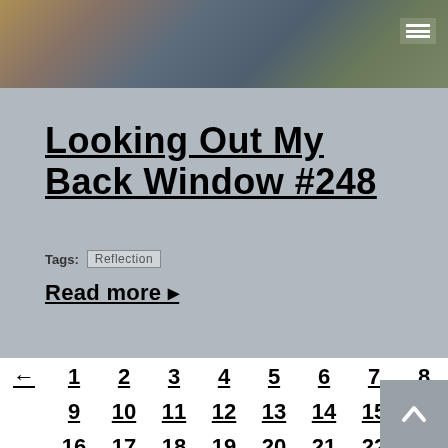[Figure (photo): Header photo bar showing a person near a window with blinds, muted tones of yellow, brown, and blue-grey]
Looking Out My Back Window #248
Tags: Reflection
Read more ▸
← 1 2 3 4 5 6 7 8
9 10 11 12 13 14 15
16 17 18 19 20 21 22